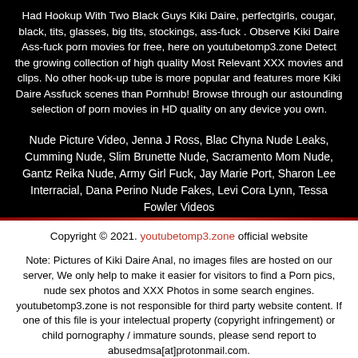Had Hookup With Two Black Guys Kiki Daire, perfectgirls, cougar, black, tits, glasses, big tits, stockings, ass-fuck . Observe Kiki Daire Ass-fuck porn movies for free, here on youtubetomp3.zone Detect the growing collection of high quality Most Relevant XXX movies and clips. No other hook-up tube is more popular and features more Kiki Daire Assfuck scenes than Pornhub! Browse through our astounding selection of porn movies in HD quality on any device you own.
Nude Picture Video, Jenna J Ross, Blac Chyna Nude Leaks, Cumming Nude, Slim Brunette Nude, Sacramento Mom Nude, Gantz Reika Nude, Army Girl Fuck, Jay Marie Port, Sharon Lee Interracial, Dana Perino Nude Fakes, Levi Cora Lynn, Tessa Fowler Videos
Copyright © 2021. youtubetomp3.zone official website
Note: Pictures of Kiki Daire Anal, no images files are hosted on our server, We only help to make it easier for visitors to find a Porn pics, nude sex photos and XXX Photos in some search engines. youtubetomp3.zone is not responsible for third party website content. If one of this file is your intelectual property (copyright infringement) or child pornography / immature sounds, please send report to abusedmsa[at]protonmail.com.